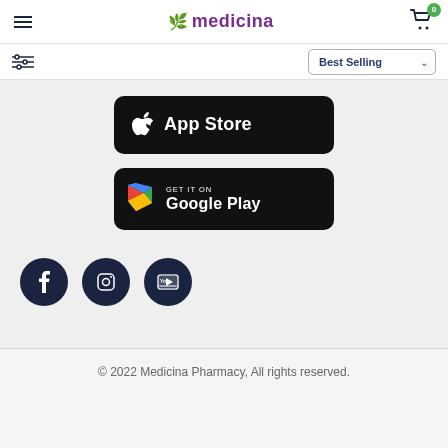medicina
[Figure (screenshot): App Store download button (black rounded rectangle with Apple logo and 'App Store' text)]
[Figure (screenshot): Google Play download button (black rounded rectangle with Google Play logo and 'GET IT ON Google Play' text)]
[Figure (infographic): Social media icons: Facebook, Instagram, YouTube (dark navy circles with white icons)]
© 2022 Medicina Pharmacy, All rights reserved.